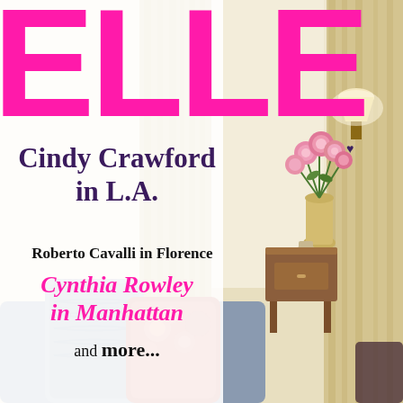[Figure (photo): Elle Decor magazine cover featuring an interior room with cream curtains, pink roses in a vase, wall lamp, wooden side table, and colorful decorative pillows on a sofa in the foreground. White overlay on left side for text readability.]
ELLE DECOR
Cindy Crawford in L.A.
Roberto Cavalli in Florence
Cynthia Rowley in Manhattan
and more...